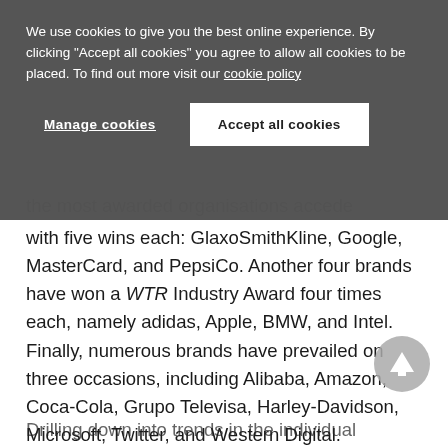We use cookies to give you the best online experience. By clicking "Accept all cookies" you agree to allow all cookies to be placed. To find out more visit our cookie policy
Manage cookies
Accept all cookies
the most awarded organisations accede with five wins each: GlaxoSmithKline, Google, MasterCard, and PepsiCo. Another four brands have won a WTR Industry Award four times each, namely adidas, Apple, BMW, and Intel. Finally, numerous brands have prevailed on three occasions, including Alibaba, Amazon, Coca-Cola, Grupo Televisa, Harley-Davidson, Microsoft, Twitter, and Western Digital.
Drilling down into trends in the individual